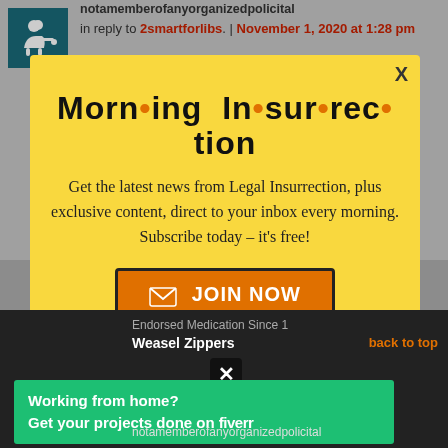notamemberofanyorganizedpolicitalparty
in reply to 2smartforlibs. | November 1, 2020 at 1:28 pm
They could say this.
[Figure (screenshot): Yellow modal popup for 'Morning Insurrection' newsletter subscription with JOIN NOW button]
Endorsed Medication Since 1
Weasel Zippers
back to top
Working from home?
Get your projects done on fiverr
notamemberofanyorganizedpolicital